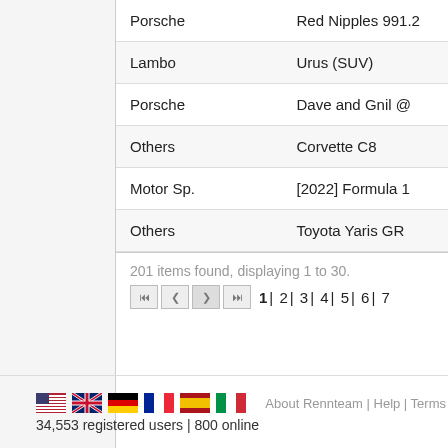| Make | Model |
| --- | --- |
| Porsche | Red Nipples 991.2 |
| Lambo | Urus (SUV) |
| Porsche | Dave and Gnil @ ... |
| Others | Corvette C8 |
| Motor Sp. | [2022] Formula 1 ... |
| Others | Toyota Yaris GR |
201 items found, displaying 1 to 30.
1 | 2 | 3 | 4 | 5 | 6 | 7
About Rennteam | Help | Terms
34,553 registered users | 800 online